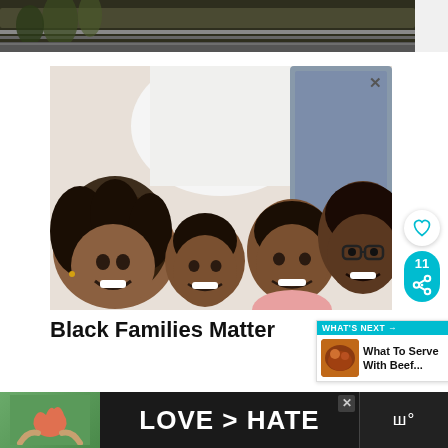[Figure (photo): Top strip of a garden/plant scene — dark background with vegetation]
[Figure (photo): Advertisement photo of a Black family of four (mother and three children) lying on a bed looking up at camera, smiling. Has an X close button in the top right corner.]
Black Families Matter
[Figure (screenshot): What's Next widget showing a thumbnail of food with text 'What To Serve With Beef...']
[Figure (photo): Bottom banner ad with hands forming a heart shape and text 'LOVE > HATE' on dark background, with a logo on the right]